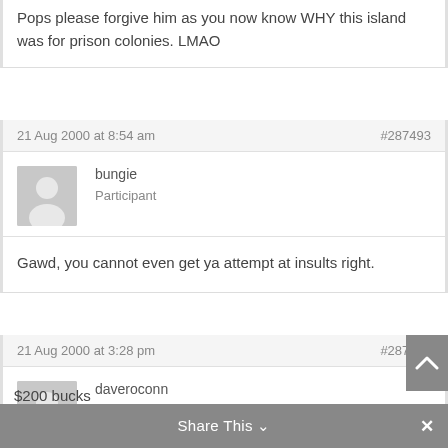Pops please forgive him as you now know WHY this island was for prison colonies. LMAO
21 Aug 2000 at 8:54 am   #287493
[Figure (illustration): Generic user avatar placeholder - gray silhouette of a person on gray background]
bungie
Participant
Gawd, you cannot even get ya attempt at insults right.
21 Aug 2000 at 3:28 pm   #287494
[Figure (illustration): Generic user avatar placeholder - gray silhouette of a person on gray background]
daveroconn
Participant
$200 bucks
Share This  ∨    ✕